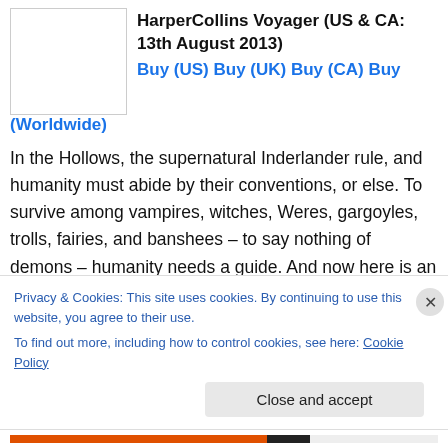[Figure (illustration): Book cover image placeholder, white rectangle with gray border]
HarperCollins Voyager (US & CA: 13th August 2013)
Buy (US) Buy (UK) Buy (CA) Buy (Worldwide)
In the Hollows, the supernatural Inderlander rule, and humanity must abide by their conventions, or else. To survive among vampires, witches, Weres, gargoyles, trolls, fairies, and banshees – to say nothing of demons – humanity needs a guide. And now here is an insider's look at the supernatural world of the Hollows, from an overarching new story to character profiles, maps, spell
Privacy & Cookies: This site uses cookies. By continuing to use this website, you agree to their use.
To find out more, including how to control cookies, see here: Cookie Policy
Close and accept